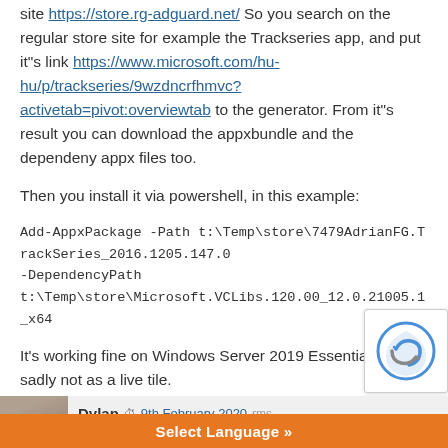site https://store.rg-adguard.net/ So you search on the regular store site for example the Trackseries app, and put it"s link https://www.microsoft.com/hu-hu/p/trackseries/9wzdncrfhmvc?activetab=pivot:overviewtab to the generator. From it"s result you can download the appxbundle and the dependeny appx files too.
Then you install it via powershell, in this example:
Add-AppxPackage -Path t:\Temp\store\7479AdrianFG.TrackSeries_2016.1205.147.0...
-DependencyPath t:\Temp\store\Microsoft.VCLibs.120.00_12.0.21005.1_x64...
It's working fine on Windows Server 2019 Essentials, but sadly not as a live tile.
Reply
Dylan  9th February 2020
When will you make utiliti...